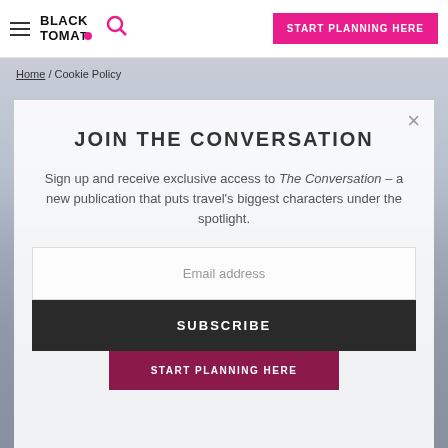BLACK TOMATO | START PLANNING HERE
Home / Cookie Policy
JOIN THE CONVERSATION
Sign up and receive exclusive access to The Conversation – a new publication that puts travel's biggest characters under the spotlight.
Email address
SUBSCRIBE
START PLANNING HERE